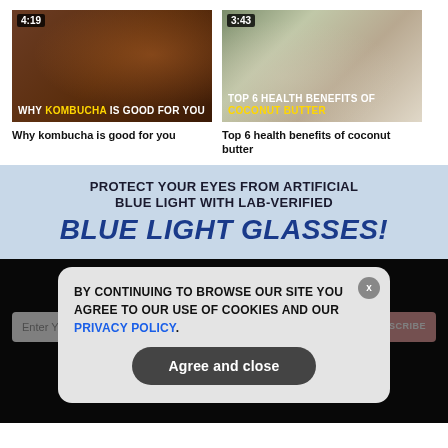[Figure (screenshot): Video thumbnail for 'Why kombucha is good for you' with duration 4:19, dark brown background with spices]
Why kombucha is good for you
[Figure (screenshot): Video thumbnail for 'Top 6 health benefits of coconut butter' with duration 3:43, coconut and bottles background]
Top 6 health benefits of coconut butter
[Figure (screenshot): Advertisement banner: PROTECT YOUR EYES FROM ARTIFICIAL BLUE LIGHT WITH LAB-VERIFIED BLUE LIGHT GLASSES!]
GET THE WORLD'S MOST INDEPENDENT MEDIA NEWSLETTER DELIVERED STRAIGHT TO YOUR INBOX.
Enter Your Email Address
SUBSCRIBE
[Figure (screenshot): Cookie consent modal: BY CONTINUING TO BROWSE OUR SITE YOU AGREE TO OUR USE OF COOKIES AND OUR PRIVACY POLICY. With Agree and close button.]